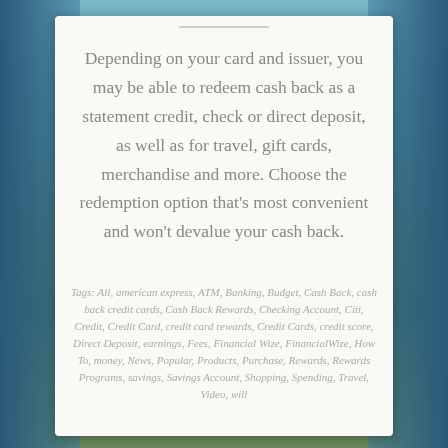Depending on your card and issuer, you may be able to redeem cash back as a statement credit, check or direct deposit, as well as for travel, gift cards, merchandise and more. Choose the redemption option that's most convenient and won't devalue your cash back.
Tags: All, american express, ATM, Banking, Budget, Cash Back, cash back credit cards, Cash Back Rewards, Checking Account, Citi, Credit, Credit Card, credit card rewards, Credit Cards, credit score, Direct Deposit, earnings, Fees, Financial Wize, FinancialWize, How To, money, News, Popular, Products, Purchase, Rewards, Rewards Programs, savings, Savings Account, Shopping, Spending, Travel, Video, will